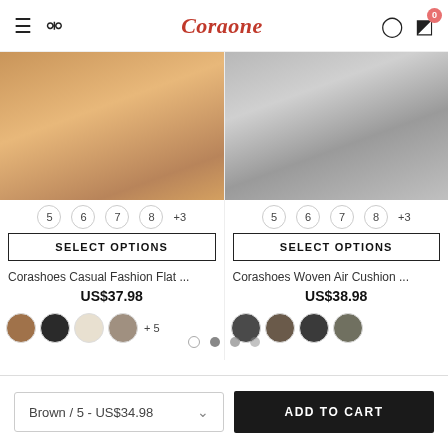Coraone
[Figure (photo): Product photo of casual fashion flat shoes in tan/brown color, cropped view of feet wearing shoes with jeans]
5  6  7  8  +3
SELECT OPTIONS
Corashoes Casual Fashion Flat ...
US$37.98
[Figure (photo): Product photo of woven air cushion shoes in light/white color, cropped view of feet wearing shoes with ripped jeans]
5  6  7  8  +3
SELECT OPTIONS
Corashoes Woven Air Cushion ...
US$38.98
Brown / 5 - US$34.98
ADD TO CART